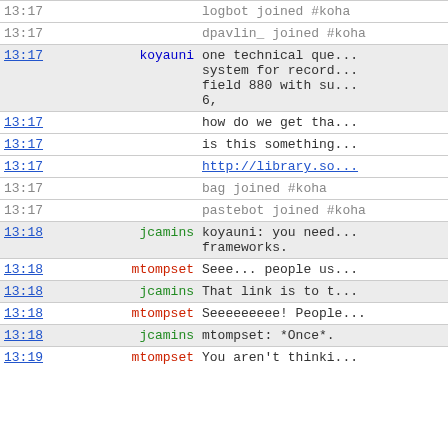| time | nick | message |
| --- | --- | --- |
| 13:17 |  | logbot joined #koha |
| 13:17 |  | dpavlin_ joined #koha |
| 13:17 | koyauni | one technical que... system for record... field 880 with su... 6, |
| 13:17 |  | how do we get tha... |
| 13:17 |  | is this something... |
| 13:17 |  | http://library.so... |
| 13:17 |  | bag joined #koha |
| 13:17 |  | pastebot joined #koha |
| 13:18 | jcamins | koyauni: you need... frameworks. |
| 13:18 | mtompset | Seee... people us... |
| 13:18 | jcamins | That link is to t... |
| 13:18 | mtompset | Seeeeeeeee! People... |
| 13:18 | jcamins | mtompset: *Once*. |
| 13:19 | mtompset | You aren't thinki... |